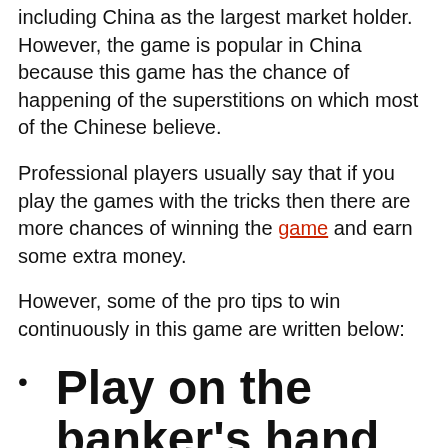including China as the largest market holder. However, the game is popular in China because this game has the chance of happening of the superstitions on which most of the Chinese believe.
Professional players usually say that if you play the games with the tricks then there are more chances of winning the game and earn some extra money.
However, some of the pro tips to win continuously in this game are written below:
Play on the banker's hand
There are three different types of bets in the game which you can select any of them. However, the banker hand is the best option